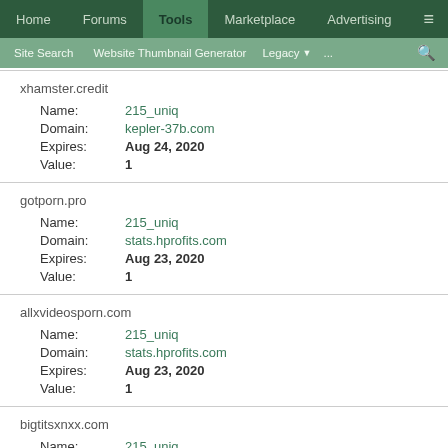Home | Forums | Tools | Marketplace | Advertising
Site Search | Website Thumbnail Generator | Legacy | ... | search
xhamster.credit
Name: 215_uniq
Domain: kepler-37b.com
Expires: Aug 24, 2020
Value: 1
gotporn.pro
Name: 215_uniq
Domain: stats.hprofits.com
Expires: Aug 23, 2020
Value: 1
allxvideosporn.com
Name: 215_uniq
Domain: stats.hprofits.com
Expires: Aug 23, 2020
Value: 1
bigtitsxnxx.com
Name: 215_uniq
Domain: stats.hprofits.com